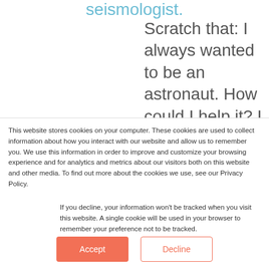seismologist.
Scratch that: I always wanted to be an astronaut. How could I help it? I
This website stores cookies on your computer. These cookies are used to collect information about how you interact with our website and allow us to remember you. We use this information in order to improve and customize your browsing experience and for analytics and metrics about our visitors both on this website and other media. To find out more about the cookies we use, see our Privacy Policy.
If you decline, your information won't be tracked when you visit this website. A single cookie will be used in your browser to remember your preference not to be tracked.
Accept
Decline